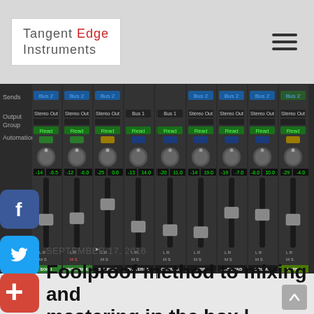[Figure (logo): Tangent Edge Instruments logo in white box with grey text and red 'Edge' word]
[Figure (screenshot): Digital audio workstation mixer view showing multiple channel strips (SOLO, ENSEMBLE, STRINGS, PATTERNS, CHORDS, ARP, BASS PAD, DRUMS, VERB) with faders, pan knobs, routing labels (Bus 2, Stereo Out, Bus 1), automation set to Read, and dB level meters.]
[Figure (other): Facebook share button (blue square with f icon)]
[Figure (other): Twitter share button (blue square with bird icon)]
[Figure (other): Google Plus / add share button (red square with + icon)]
SEPTEMBER 17, 2016
Foolproof method to mixing and mastering in the box | mixing